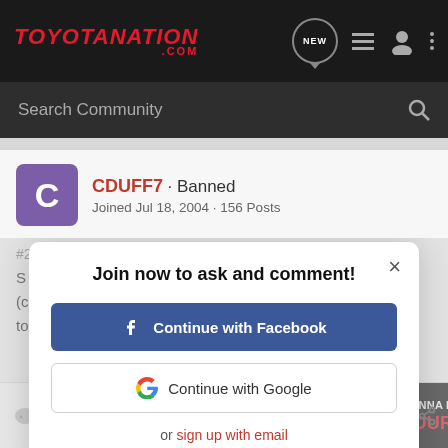TOYOTANATION .COM
Search Community
CDUFF7 · Banned
Joined Jul 18, 2004 · 156 Posts
Join now to ask and comment!
Continue with Facebook
Continue with Google
or sign up with email
Reply
[Figure (screenshot): Ad banner for Pedal Commander: WANNA INCREASE YOUR 0-60?]